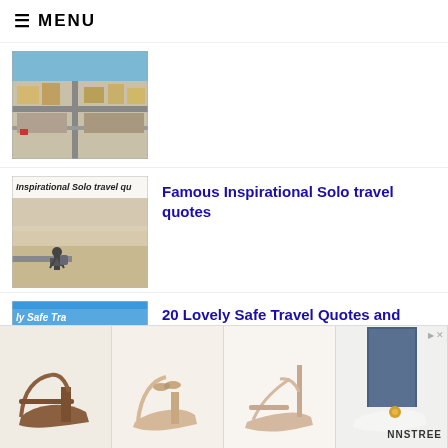≡ MENU
[Figure (photo): Aerial view of a city with buildings and roads]
[Figure (photo): Person with backpack sitting on ledge overlooking a city, with text 'Inspirational Solo travel qu...']
Famous Inspirational Solo travel quotes
[Figure (photo): Blue background with text 'ly Safe Tra... nd Wishe...']
20 Lovely Safe Travel Quotes and
[Figure (photo): Advertisement banner showing four pairs of shoes/heels, branded NNSTREE]